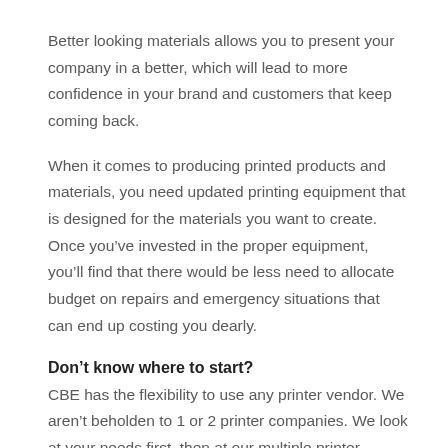Better looking materials allows you to present your company in a better, which will lead to more confidence in your brand and customers that keep coming back.
When it comes to producing printed products and materials, you need updated printing equipment that is designed for the materials you want to create. Once you’ve invested in the proper equipment, you’ll find that there would be less need to allocate budget on repairs and emergency situations that can end up costing you dearly.
Don’t know where to start?
CBE has the flexibility to use any printer vendor. We aren’t beholden to 1 or 2 printer companies. We look at your needs first, then at our multiple printer options and customize a plan to fit your needs. Our customer integration team can even refurbish your